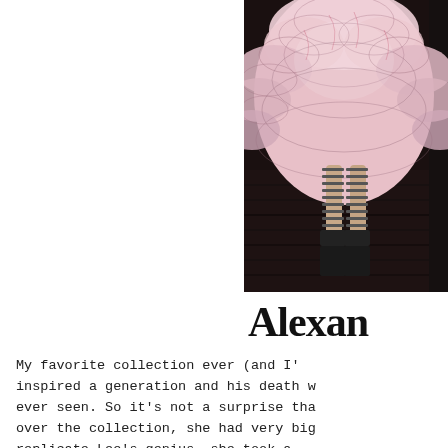[Figure (photo): Fashion runway photo showing lower half of model wearing a voluminous pink ruffled/petal dress with black lace-up heeled gladiator sandals, on a dark wood runway floor. Image is cropped showing from waist down.]
Alexan
My favorite collection ever (and I'... inspired a generation and his death w... ever seen. So it's not a surprise tha... over the collection, she had very big... replicate Lee's genius, she took a... avant-garde nature of the McQueen br...